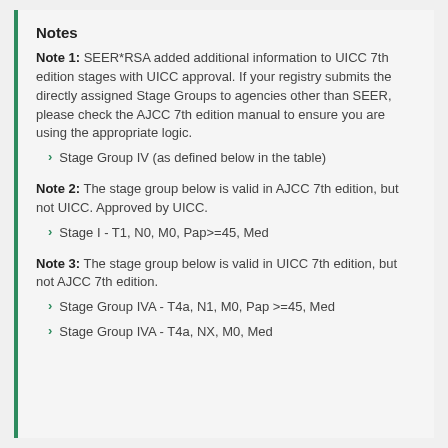Notes
Note 1: SEER*RSA added additional information to UICC 7th edition stages with UICC approval. If your registry submits the directly assigned Stage Groups to agencies other than SEER, please check the AJCC 7th edition manual to ensure you are using the appropriate logic.
Stage Group IV (as defined below in the table)
Note 2: The stage group below is valid in AJCC 7th edition, but not UICC. Approved by UICC.
Stage I - T1, N0, M0, Pap>=45, Med
Note 3: The stage group below is valid in UICC 7th edition, but not AJCC 7th edition.
Stage Group IVA - T4a, N1, M0, Pap >=45, Med
Stage Group IVA - T4a, NX, M0, Med